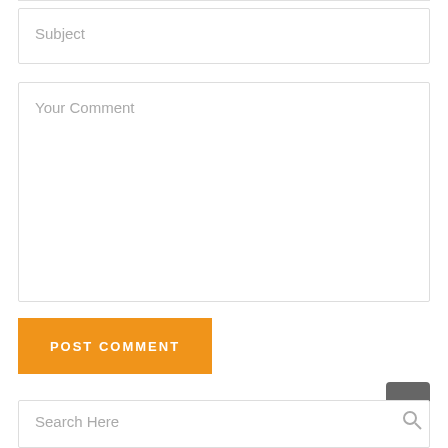Subject
Your Comment
POST COMMENT
Search Here